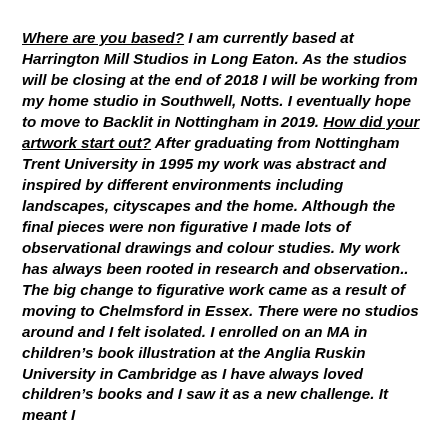Where are you based? I am currently based at Harrington Mill Studios in Long Eaton. As the studios will be closing at the end of 2018 I will be working from my home studio in Southwell, Notts. I eventually hope to move to Backlit in Nottingham in 2019. How did your artwork start out? After graduating from Nottingham Trent University in 1995 my work was abstract and inspired by different environments including landscapes, cityscapes and the home. Although the final pieces were non figurative I made lots of observational drawings and colour studies. My work has always been rooted in research and observation.. The big change to figurative work came as a result of moving to Chelmsford in Essex. There were no studios around and I felt isolated. I enrolled on an MA in children's book illustration at the Anglia Ruskin University in Cambridge as I have always loved children's books and I saw it as a new challenge. It meant I